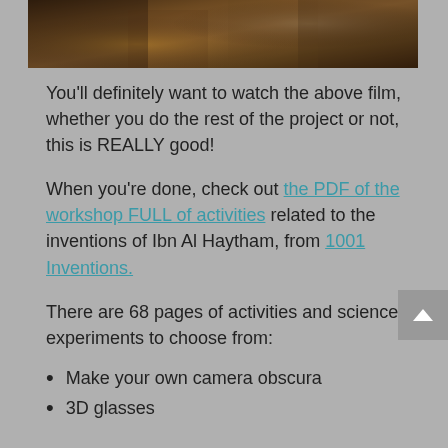[Figure (photo): Partial view of a cinematic historical film scene showing figures in ancient setting with warm brown tones]
You'll definitely want to watch the above film, whether you do the rest of the project or not, this is REALLY good!
When you're done, check out the PDF of the workshop FULL of activities related to the inventions of Ibn Al Haytham, from 1001 Inventions.
There are 68 pages of activities and science experiments to choose from:
Make your own camera obscura
3D glasses